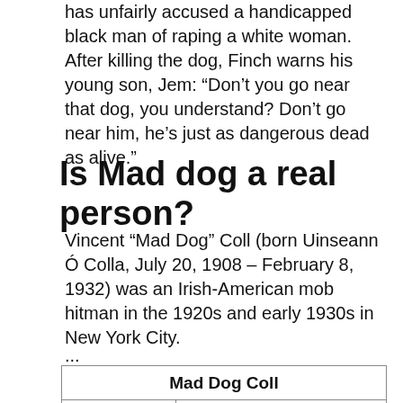has unfairly accused a handicapped black man of raping a white woman. After killing the dog, Finch warns his young son, Jem: “Don’t you go near that dog, you understand? Don’t go near him, he’s just as dangerous dead as alive.”
Is Mad dog a real person?
Vincent “Mad Dog” Coll (born Uinseann Ó Colla, July 20, 1908 – February 8, 1932) was an Irish-American mob hitman in the 1920s and early 1930s in New York City.
...
| Mad Dog Coll |
| --- |
| Occupation | Mobster, hitman, kidnapper, |